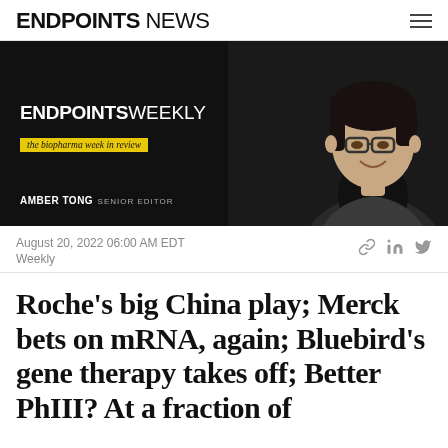ENDPOINTS NEWS
[Figure (photo): Endpoints Weekly banner with photo of Amber Tong, Senior Editor. Dark background with 'ENDPOINTS WEEKLY - the biopharma week in review' text and yellow tagline bar.]
August 20, 2022 06:00 AM EDT
Weekly
Roche's big China play; Merck bets on mRNA, again; Bluebird's gene therapy takes off; Better PhIII? At a fraction of